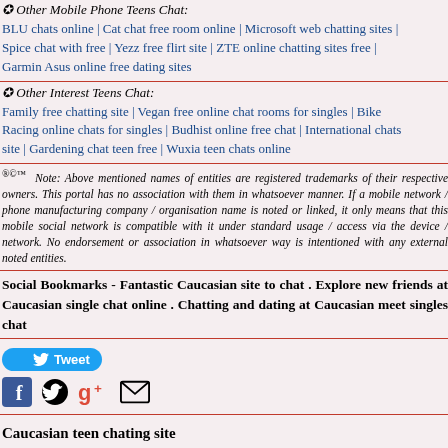Other Mobile Phone Teens Chat: BLU chats online | Cat chat free room online | Microsoft web chatting sites | Spice chat with free | Yezz free flirt site | ZTE online chatting sites free | Garmin Asus online free dating sites
Other Interest Teens Chat: Family free chatting site | Vegan free online chat rooms for singles | Bike Racing online chats for singles | Budhist online free chat | International chats site | Gardening chat teen free | Wuxia teen chats online
®©™ Note: Above mentioned names of entities are registered trademarks of their respective owners. This portal has no association with them in whatsoever manner. If a mobile network / phone manufacturing company / organisation name is noted or linked, it only means that this mobile social network is compatible with it under standard usage / access via the device / network. No endorsement or association in whatsoever way is intentioned with any external noted entities.
Social Bookmarks - Fantastic Caucasian site to chat . Explore new friends at Caucasian single chat online . Chatting and dating at Caucasian meet singles chat
[Figure (other): Tweet button and social media share icons (Facebook, Twitter, Google+, Email)]
Caucasian teen chating site